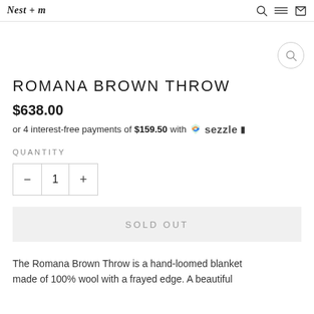Nest + m (logo)
ROMANA BROWN THROW
$638.00
or 4 interest-free payments of $159.50 with Sezzle
QUANTITY
1
SOLD OUT
The Romana Brown Throw is a hand-loomed blanket made of 100% wool with a frayed edge. A beautiful